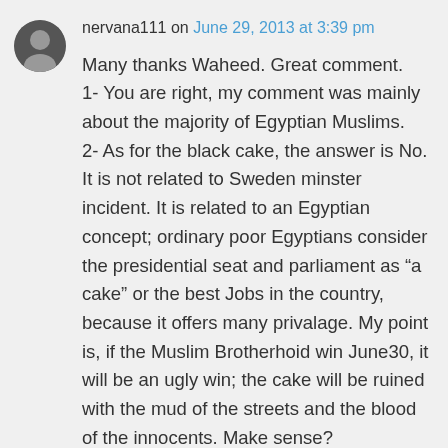nervana111 on June 29, 2013 at 3:39 pm
Many thanks Waheed. Great comment. 1- You are right, my comment was mainly about the majority of Egyptian Muslims. 2- As for the black cake, the answer is No. It is not related to Sweden minster incident. It is related to an Egyptian concept; ordinary poor Egyptians consider the presidential seat and parliament as “a cake” or the best Jobs in the country, because it offers many privalage. My point is, if the Muslim Brotherhoid win June30, it will be an ugly win; the cake will be ruined with the mud of the streets and the blood of the innocents. Make sense?